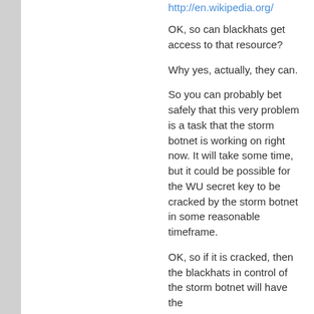http://en.wikipedia.org/
OK, so can blackhats get access to that resource?
Why yes, actually, they can.
So you can probably bet safely that this very problem is a task that the storm botnet is working on right now. It will take some time, but it could be possible for the WU secret key to be cracked by the storm botnet in some reasonable timeframe.
OK, so if it is cracked, then the blackhats in control of the storm botnet will have the